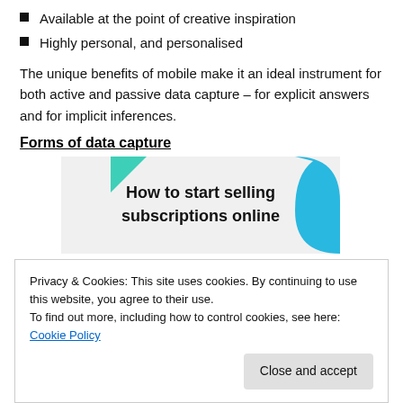Available at the point of creative inspiration
Highly personal, and personalised
The unique benefits of mobile make it an ideal instrument for both active and passive data capture – for explicit answers and for implicit inferences.
Forms of data capture
[Figure (illustration): Promotional banner with teal/cyan decorative shapes and bold text reading 'How to start selling subscriptions online' on a light grey background.]
Privacy & Cookies: This site uses cookies. By continuing to use this website, you agree to their use.
To find out more, including how to control cookies, see here: Cookie Policy